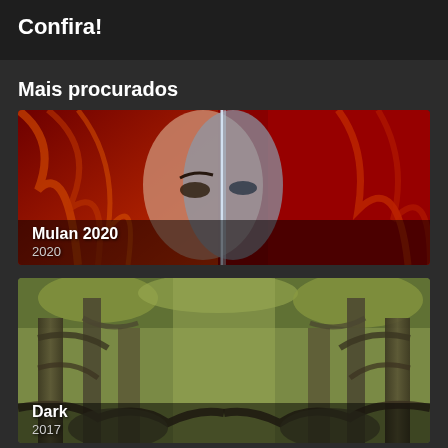Confira!
Mais procurados
[Figure (photo): Movie poster for Mulan 2020 showing a woman's face split between civilian and warrior appearances, with red dramatic lighting]
Mulan 2020
2020
[Figure (photo): TV show poster for Dark 2017 showing a mirrored forest scene with twisted trees and green foliage]
Dark
2017